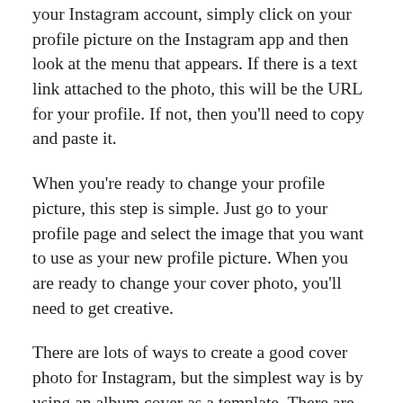your Instagram account, simply click on your profile picture on the Instagram app and then look at the menu that appears. If there is a text link attached to the photo, this will be the URL for your profile. If not, then you'll need to copy and paste it.
When you're ready to change your profile picture, this step is simple. Just go to your profile page and select the image that you want to use as your new profile picture. When you are ready to change your cover photo, you'll need to get creative.
There are lots of ways to create a good cover photo for Instagram, but the simplest way is by using an album cover as a template. There are plenty of apps in the App store that allow you to